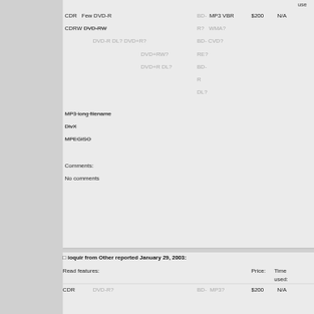use
CDR  Few DVD-R  BD- MP3 VBR $200 N/A
CDRW DVD-RW  R?  WMA?
DVD-R DL? DVD+R?  BD- CVD?
DVD+RW?  RE?
DVD+R DL? BD-R DL?
MP3 long filename (strikethrough)
DivX (strikethrough)
MPEGISO (strikethrough)
Comments:
No comments
ioquir from Other reported January 29, 2003:
Read features:
Price:
Time used:
CDR  DVD-R?  BD- MP3? $200 N/A